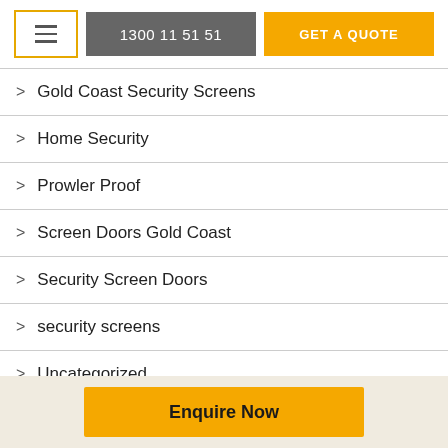☰  1300 11 51 51  GET A QUOTE
> Gold Coast Security Screens
> Home Security
> Prowler Proof
> Screen Doors Gold Coast
> Security Screen Doors
> security screens
> Uncategorized
Enquire Now